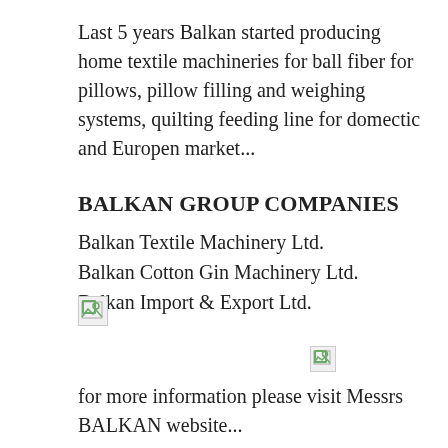Last 5 years Balkan started producing home textile machineries for ball fiber for pillows, pillow filling and weighing systems, quilting feeding line for domectic and Europen market...
BALKAN GROUP COMPANIES
Balkan Textile Machinery Ltd.
Balkan Cotton Gin Machinery Ltd.
Balkan Import & Export Ltd.
[Figure (photo): Broken/missing image placeholder (top-left area)]
[Figure (photo): Broken/missing image placeholder (center-right area)]
for more information please visit Messrs BALKAN website...